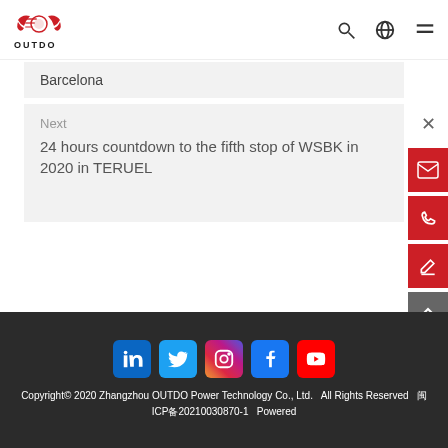[Figure (logo): OUTDO company logo with red swoosh graphic and OUTDO text below]
Barcelona
Next
24 hours countdown to the fifth stop of WSBK in 2020 in TERUEL
Copyright© 2020 Zhangzhou OUTDO Power Technology Co., Ltd.  All Rights Reserved  闽ICP备20210030870-1  Powered